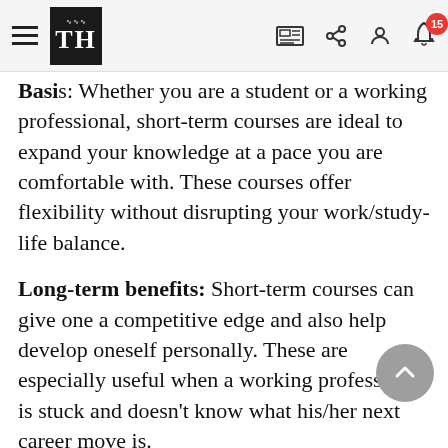THE (The Hindu) navigation bar with hamburger menu, logo, newspaper icon, share icon, user icon, and notification bell with badge 15
...Whether you are a student or a working professional, short-term courses are ideal to expand your knowledge at a pace you are comfortable with. These courses offer flexibility without disrupting your work/study-life balance.
Long-term benefits: Short-term courses can give one a competitive edge and also help develop oneself personally. These are especially useful when a working professional is stuck and doesn't know what his/her next career move is.
Selecting a course
There are different types of short-term courses and several institutes and colleges also offer part-time...